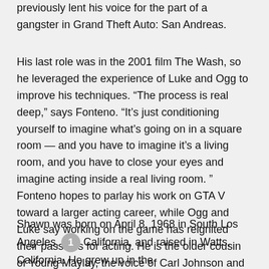previously lent his voice for the part of a gangster in Grand Theft Auto: San Andreas.
His last role was in the 2001 film The Wash, so he leveraged the experience of Luke and Ogg to improve his techniques. “The process is real deep,” says Fonteno. “It’s just conditioning yourself to imagine what’s going on in a square room — and you have to imagine it’s a living room, and you have to close your eyes and imagine acting inside a real living room. ” Fonteno hopes to parlay his work on GTA V toward a larger acting career, while Ogg and Luke say working on the game has reignited their passions for acting. He is the older cousin of Young Maylay, the voice of Carl Johnson and also a rapper.
Shawn was born on April 8, 1968 in South Los Angeles, California, and raised in Watts, California. He grew up in the